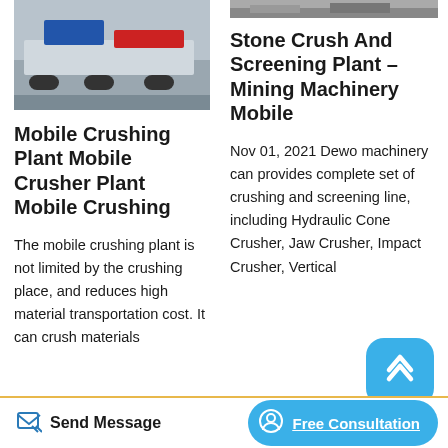[Figure (photo): Mobile crushing plant truck on road, partial view from top]
Mobile Crushing Plant Mobile Crusher Plant Mobile Crushing
The mobile crushing plant is not limited by the crushing place, and reduces high material transportation cost. It can crush materials
[Figure (photo): Stone crush and screening plant machinery, partial view from top]
Stone Crush And Screening Plant – Mining Machinery Mobile
Nov 01, 2021 Dewo machinery can provides complete set of crushing and screening line, including Hydraulic Cone Crusher, Jaw Crusher, Impact Crusher, Vertical
Send Message | Free Consultation